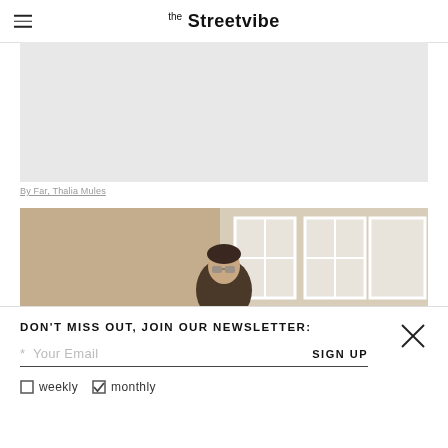the Streetvibe
[Figure (photo): Partially visible gray area at top — top portion of a fashion/street style image]
By Far, Thalia Mules
[Figure (photo): Street style photo of a young woman wearing sunglasses, standing in front of a Haussmann-style Parisian building with stone facade and white-framed windows]
DON'T MISS OUT, JOIN OUR NEWSLETTER:
* Your Email
SIGN UP
weekly
monthly